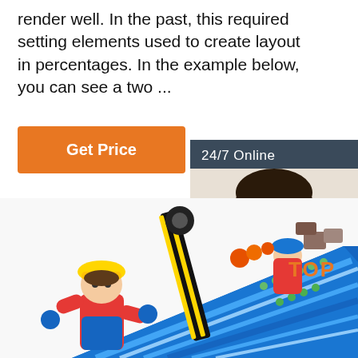render well. In the past, this required setting elements used to create layout in percentages. In the example below, you can see a two ...
[Figure (other): Orange 'Get Price' button]
[Figure (other): 24/7 Online chat widget with customer service agent photo, 'Click here for free chat!' text, and orange QUOTATION button]
[Figure (illustration): Construction toy scene with colorful figurines, crane, and inflatable slide structures. Orange 'TOP' logo overlay in bottom right.]